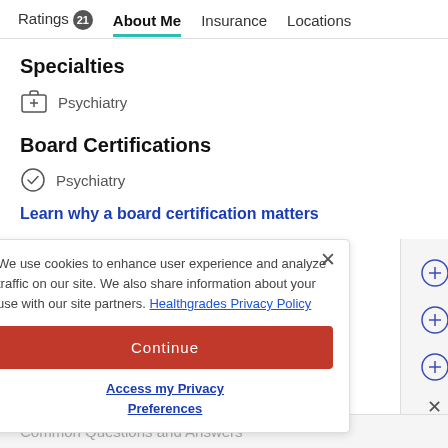Ratings 21  About Me  Insurance  Locations
Specialties
Psychiatry
Board Certifications
Psychiatry
Learn why a board certification matters
We use cookies to enhance user experience and analyze traffic on our site. We also share information about your use with our site partners. Healthgrades Privacy Policy
Continue
Access my Privacy Preferences
Common Questions and Answers